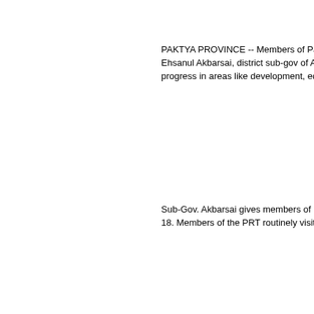PAKTYA PROVINCE -- Members of Paktya Ehsanul Akbarsai, district sub-gov of Ahmad A progress in areas like development, education
Sub-Gov. Akbarsai gives members of PRT Pa 18. Members of the PRT routinely visit the dis